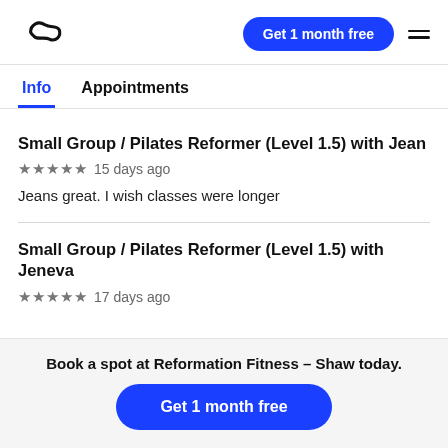Logo | Get 1 month free | Menu
Info  Appointments
Small Group / Pilates Reformer (Level 1.5) with Jean
★★★★★ 15 days ago
Jeans great. I wish classes were longer
Small Group / Pilates Reformer (Level 1.5) with Jeneva
★★★★★ 17 days ago
Book a spot at Reformation Fitness – Shaw today.
Get 1 month free